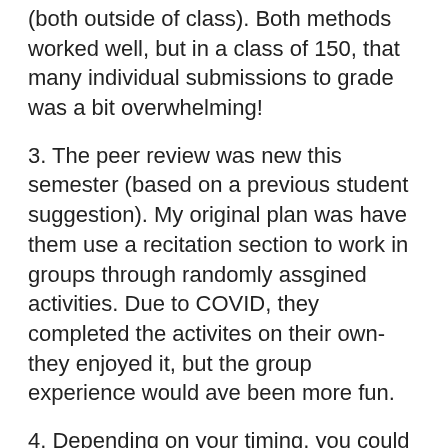(both outside of class).  Both methods worked well, but in a class of 150, that many individual submissions to grade was a bit overwhelming!
3. The peer review was new this semester (based on a previous student suggestion).  My original plan was have them use a recitation section to work in groups through randomly assgined activities.  Due to COVID, they completed the activites on their own- they enjoyed it, but the group experience would ave been more fun.
4. Depending on your timing, you could have them go through the peer review process and then give them a chance to revise the activity based on the feedback prior to you grading it.
5. The student reflection questions are given as a survey on Canvas after they have completed both